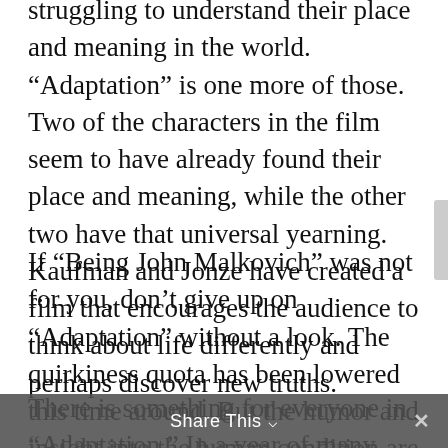struggling to understand their place and meaning in the world. “Adaptation” is one more of those. Two of the characters in the film seem to have already found their place and meaning, while the other two have that universal yearning. Kaufman and Jonze have created a film that encourages the audience to think about life differently and perhaps discover new truths.
If “Being John Malkovich” was not for you, don’t give up on “Adaptation” without a look. The quirkiness quota has been lowered this time around. But the humor and insight into the human condition are equal to or greater than in the previous film.
There is something for everyone in “Adaptation.” In a year of many outstanding films, there is nothing else playing in multiplexes quite like this “Adaptation.”
Share This